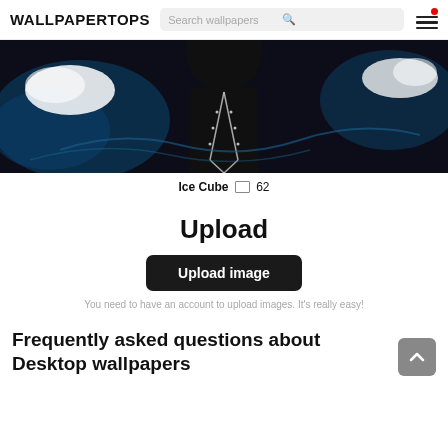WALLPAPERTOPS | Search wallpapers
[Figure (photo): Dark image of a person wearing a silver chain necklace with blue glowing abstract background]
Ice Cube  62
Upload
Upload image
You need to have an account to upload images. It's really easy!
Frequently asked questions about Desktop wallpapers